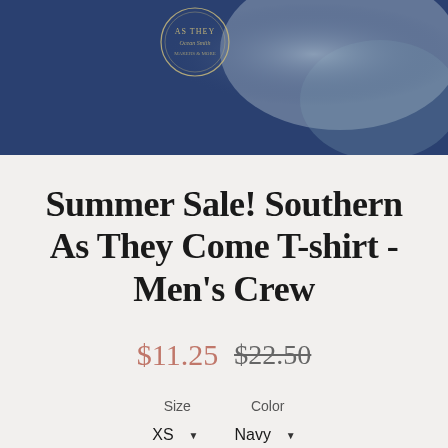[Figure (photo): Close-up photo of a navy blue T-shirt with a circular logo/emblem featuring text 'As They Come', 'Ocean Smith', and other branding details. Rocks visible in the background.]
Summer Sale! Southern As They Come T-shirt - Men's Crew
$11.25  $22.50
Size    Color
XS ▾  Navy ▾